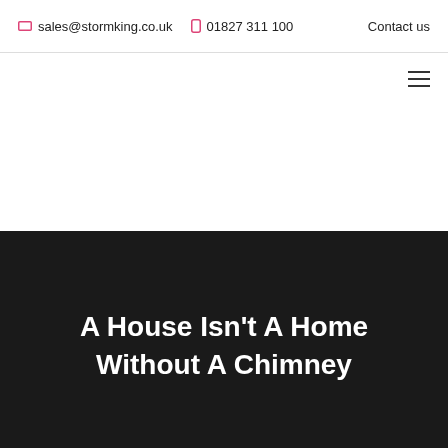✉ sales@stormking.co.uk   ☎ 01827 311 100   Contact us
A House Isn't A Home Without A Chimney